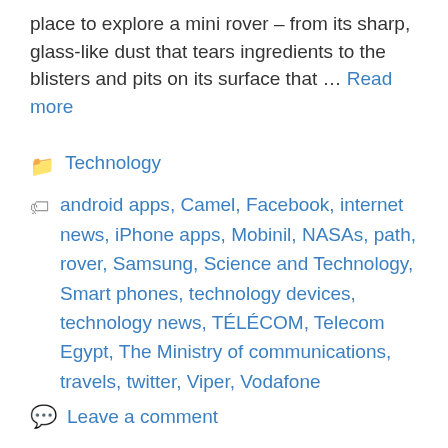place to explore a mini rover – from its sharp, glass-like dust that tears ingredients to the blisters and pits on its surface that … Read more
Technology
android apps, Camel, Facebook, internet news, iPhone apps, Mobinil, NASAs, path, rover, Samsung, Science and Technology, Smart phones, technology devices, technology news, TÉLÉCOM, Telecom Egypt, The Ministry of communications, travels, twitter, Viper, Vodafone
Leave a comment